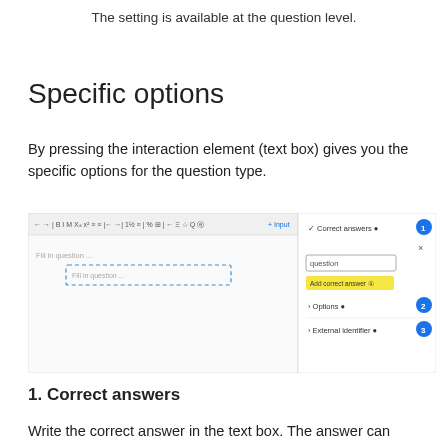The setting is available at the question level.
Specific options
By pressing the interaction element (text box) gives you the specific options for the question type.
[Figure (screenshot): Screenshot of a question editor interface showing a text input area with dashed border on the left and a right panel with 'Correct answers', 'Options', and 'External identifier' sections numbered 1, 2, 3. A yellow 'Add correct answer' button is visible.]
1. Correct answers
Write the correct answer in the text box. The answer can